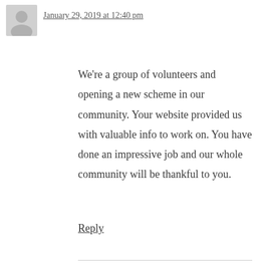January 29, 2019 at 12:40 pm
We're a group of volunteers and opening a new scheme in our community. Your website provided us with valuable info to work on. You have done an impressive job and our whole community will be thankful to you.
Reply